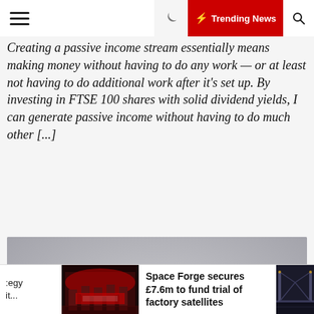Trending News
Creating a passive income stream essentially means making money without having to do any work — or at least not having to do additional work after it's set up. By investing in FTSE 100 shares with solid dividend yields, I can generate passive income without having to do much other [...]
[Figure (photo): Pink piggy bank wearing black-rimmed glasses, sitting next to a white calculator on a grey background]
egy
it...
[Figure (photo): Thumbnail image of a red-lit industrial or event space]
Space Forge secures £7.6m to fund trial of factory satellites
[Figure (photo): Thumbnail image of a bridge or infrastructure at night]